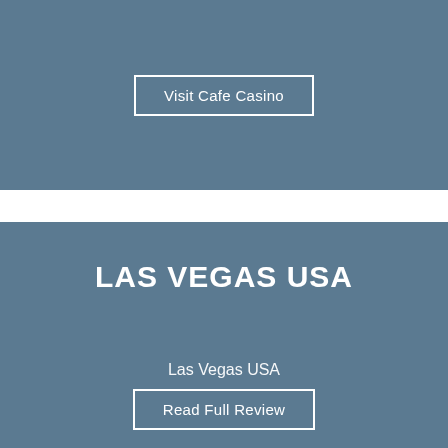Visit Cafe Casino
LAS VEGAS USA
Las Vegas USA
Read Full Review